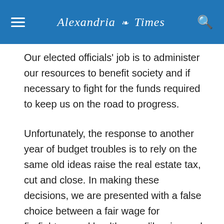Alexandria Times
Our elected officials' job is to administer our resources to benefit society and if necessary to fight for the funds required to keep us on the road to progress.
Unfortunately, the response to another year of budget troubles is to rely on the same old ideas raise the real estate tax, cut and close. In making these decisions, we are presented with a false choice between a fair wage for firefighters and health care, libraries and social workers.
The truth is that Alexandria and the Commonwealth have the money, our decision makers just choose to spend it on other things.